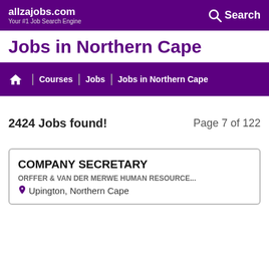allzajobs.com — Your #1 Job Search Engine | Search
Jobs in Northern Cape
Home | Courses | Jobs | Jobs in Northern Cape
2424 Jobs found!   Page 7 of 122
COMPANY SECRETARY
ORFFER & VAN DER MERWE HUMAN RESOURCE...
Upington, Northern Cape